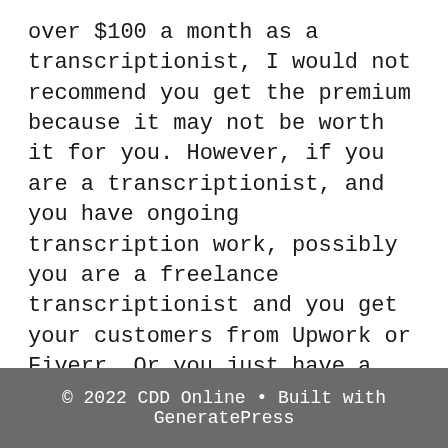over $100 a month as a transcriptionist, I would not recommend you get the premium because it may not be worth it for you. However, if you are a transcriptionist, and you have ongoing transcription work, possibly you are a freelance transcriptionist and you get your customers from Upwork or Fiverr. Or you just have a client that you deal with that you found on YouTube and you do all their subtitles for them. Paying an additional 11 a month if you were able to get the year long subscription or the quarterly membership may be worth it.
© 2022 CDD Online • Built with GeneratePress